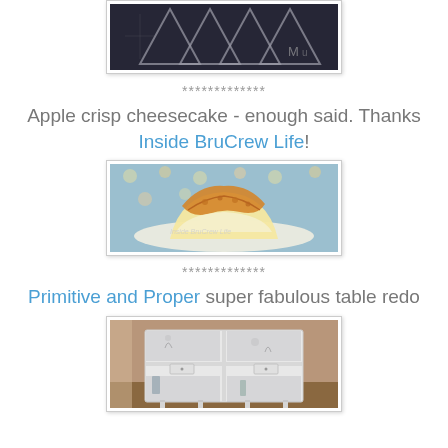[Figure (photo): Partial top photo showing decorative window/sign with geometric design, cut off at top of page]
*************
Apple crisp cheesecake - enough said. Thanks Inside BruCrew Life!
[Figure (photo): Photo of a slice of apple crisp cheesecake on a plate, with a blue floral background, watermark reads 'Inside BruCrew Life']
*************
Primitive and Proper super fabulous table redo
[Figure (photo): Photo of a white painted shelving unit/table with four open compartments and small drawers, displayed in a room setting]